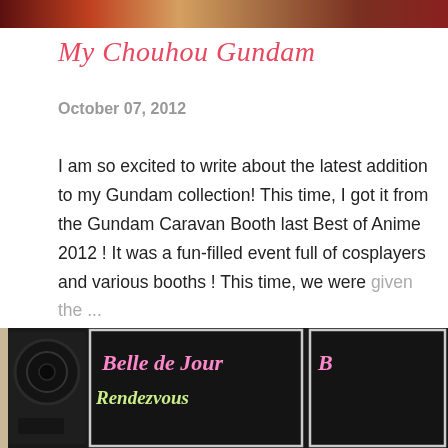[Figure (photo): Top banner photo showing merchandise or collectibles at an anime event.]
My Chouhou Gundam
October 07, 2012
I am so excited to write about the latest addition to my Gundam collection!  This time, I got it from the Gundam Caravan Booth last Best of Anime 2012 ! It was a fun-filled event full of cosplayers and various booths !  This time, we were given the ...
SHARE   POST A COMMENT   READ MORE
[Figure (photo): Photo of chalkboard signs reading 'Belle de Jour Rendezvous' at what appears to be a booth or event display, with a speaker visible on the left.]